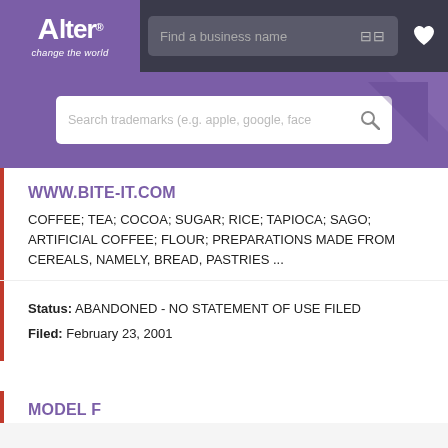[Figure (screenshot): Alter trademark search website header with purple logo, search bar saying 'Find a business name', filter icon, and heart icon on dark background]
[Figure (screenshot): Purple banner with white search box saying 'Search trademarks (e.g. apple, google, face' and search icon]
WWW.BITE-IT.COM
COFFEE; TEA; COCOA; SUGAR; RICE; TAPIOCA; SAGO; ARTIFICIAL COFFEE; FLOUR; PREPARATIONS MADE FROM CEREALS, NAMELY, BREAD, PASTRIES ...
Status: ABANDONED - NO STATEMENT OF USE FILED
Filed: February 23, 2001
MODEL F